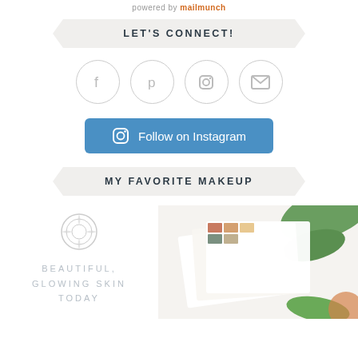powered by mailmunch
LET'S CONNECT!
[Figure (infographic): Four circular social media icon buttons: Facebook, Pinterest, Instagram, Email]
[Figure (infographic): Blue rounded button reading 'Follow on Instagram' with Instagram icon]
MY FAVORITE MAKEUP
[Figure (infographic): Circular ornate logo icon and text 'BEAUTIFUL, GLOWING SKIN TODAY' on left; product photo on right]